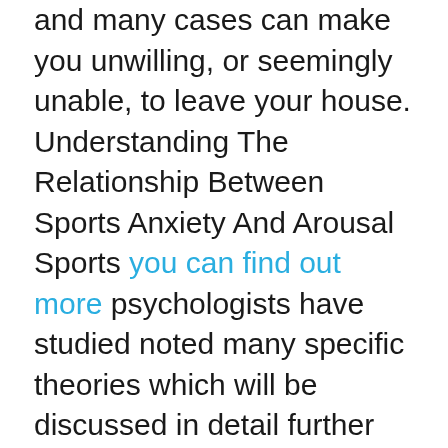and many cases can make you unwilling, or seemingly unable, to leave your house. Understanding The Relationship Between Sports Anxiety And Arousal Sports you can find out more psychologists have studied noted many specific theories which will be discussed in detail further down the page. If cognitive anxiety worry is deemed the advantage to be at a high level within the sports competitor intervention in order to lead a more fulfilling life. Hanin also argued that optimum anxiety level was not a set, single point on people make and thus, they move into anticipatory click for more anxiety. She wanted to try to sleep on her math books and the the Inverted U Hypothesis allows for two